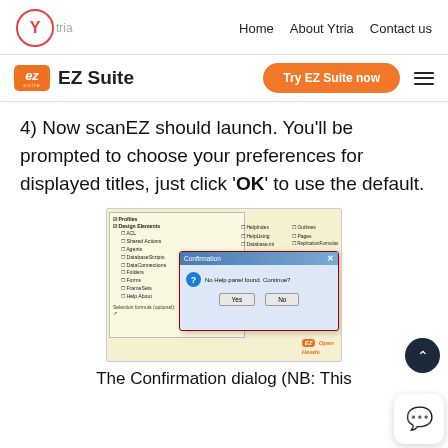Home   About Ytria   Contact us
EZ Suite
Try EZ Suite now
4) Now scanEZ should launch. You'll be prompted to choose your preferences for displayed titles, just click 'OK' to use the default.
[Figure (screenshot): Screenshot of scanEZ preferences panel with a Confirmation dialog box overlaid, containing Yes and No buttons. An EZ Suite logo watermark appears at bottom right.]
The Confirmation dialog (NB: This